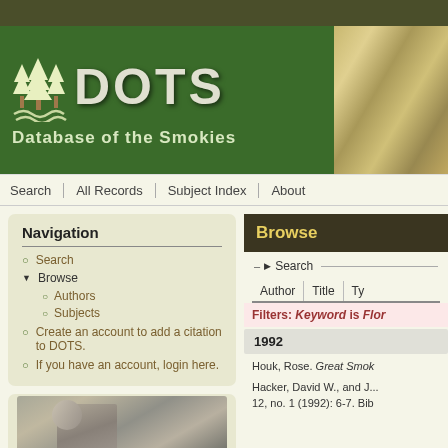[Figure (screenshot): DOTS - Database of the Smokies website header with green banner, tree logo, navigation bar, left navigation panel, and browse results panel showing 1992 records with author citations]
DOTS - Database of the Smokies
Navigation
Search
Browse
Authors
Subjects
Create an account to add a citation to DOTS.
If you have an account, login here.
Browse
Search
Author | Title | Ty
Filters: Keyword is Flor
1992
Houk, Rose. Great Smok
Hacker, David W., and J... 12, no. 1 (1992): 6-7. Bib